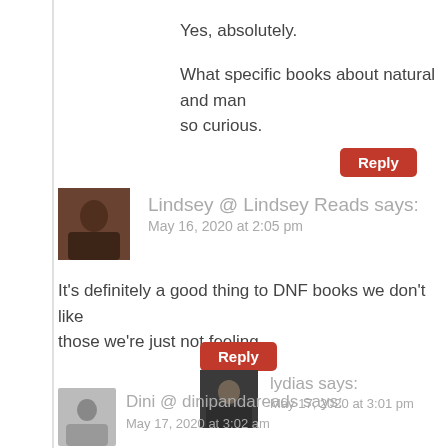Yes, absolutely.
What specific books about natural and man so curious.
Reply
Lindsey @ Lindsey Reads says: May 16, 2020 at 2:05 pm
It's definitely a good thing to DNF books we don't like those we're just not feeling.
Reply
lydias says: May 17, 2020 at 3:01 pm
For sure!
Reply
Dini @ dinipandareads says: May 17, 2020 at 3:02 am